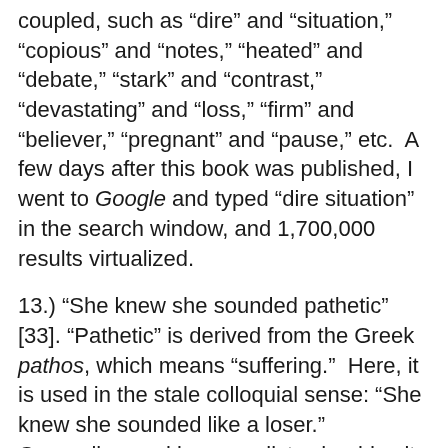coupled, such as “dire” and “situation,” “copious” and “notes,” “heated” and “debate,” “stark” and “contrast,” “devastating” and “loss,” “firm” and “believer,” “pregnant” and “pause,” etc.  A few days after this book was published, I went to Google and typed “dire situation” in the search window, and 1,700,000 results virtualized.
13.) “She knew she sounded pathetic” [33]. “Pathetic” is derived from the Greek pathos, which means “suffering.”  Here, it is used in the stale colloquial sense: “She knew she sounded like a loser.”  Generally speaking, novelists should write familiar things in an unfamiliar way, not familiar things in a familiar way.